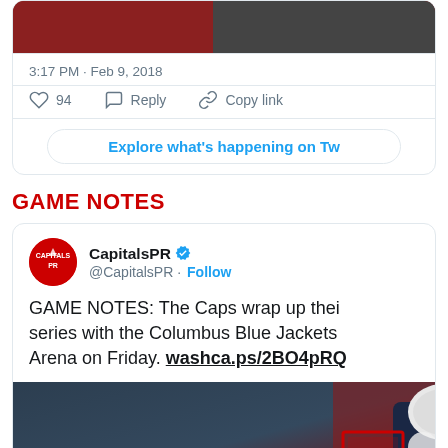[Figure (screenshot): Top portion of a tweet card showing a sports photo cropped at top, timestamp '3:17 PM · Feb 9, 2018', like (94), reply, and copy link actions, and an 'Explore what's happening on T...' button]
GAME NOTES
[Figure (screenshot): Tweet card from @CapitalsPR (verified) with Follow button. Tweet text: 'GAME NOTES: The Caps wrap up their series with the Columbus Blue Jackets ... Arena on Friday. washca.ps/2BO4pRQ'. Below is a hockey game photo showing a Blue Jackets player.]